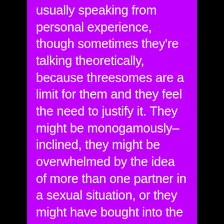usually speaking from personal experience, though sometimes they're talking theoretically, because threesomes are a limit for them and they feel the need to justify it. They might be monogamously–inclined, they might be overwhelmed by the idea of more than one partner in a sexual situation, or they might have bought into the idea that a threesome is objectifying and misogynistic because of the threesomes you see in porn. They don't owe you an explanation for their aversion to threesomes, but it's worth considering that everybody's life experiences are different, and it's likely